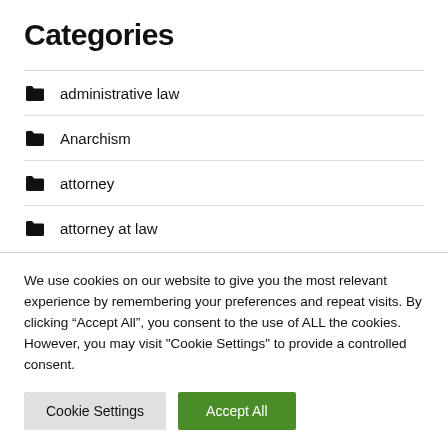Categories
administrative law
Anarchism
attorney
attorney at law
We use cookies on our website to give you the most relevant experience by remembering your preferences and repeat visits. By clicking “Accept All”, you consent to the use of ALL the cookies. However, you may visit "Cookie Settings" to provide a controlled consent.
Cookie Settings | Accept All